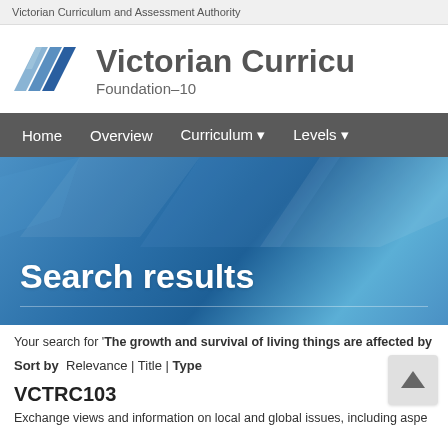Victorian Curriculum and Assessment Authority
[Figure (logo): Victorian Curriculum Foundation-10 logo with blue chevron/arrow graphic]
Search results
Your search for 'The growth and survival of living things are affected by
Sort by  Relevance | Title | Type
VCTRC103
Exchange views and information on local and global issues, including aspe